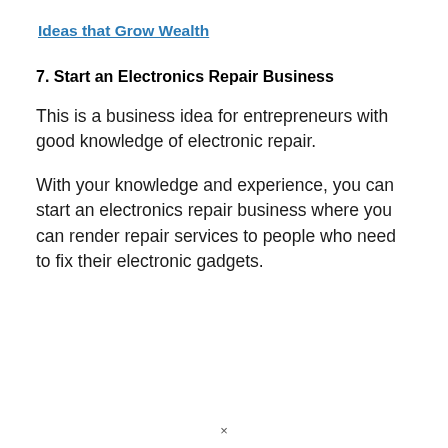Ideas that Grow Wealth
7. Start an Electronics Repair Business
This is a business idea for entrepreneurs with good knowledge of electronic repair.
With your knowledge and experience, you can start an electronics repair business where you can render repair services to people who need to fix their electronic gadgets.